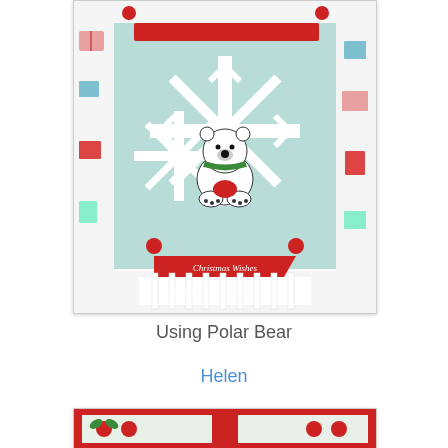[Figure (photo): Handmade Christmas card featuring a polar bear on a snowflake die-cut, with Christmas patterned paper border showing gifts and ornaments, red banner reading 'Christmas Wishes', red ornament embellishments. Watermark reads 'Heather Mills www.wireurapture.blogspot.com']
Using Polar Bear
Helen
[Figure (photo): Partial view of another handmade card with red frame, green holly patterned paper, and red circular embellishments]